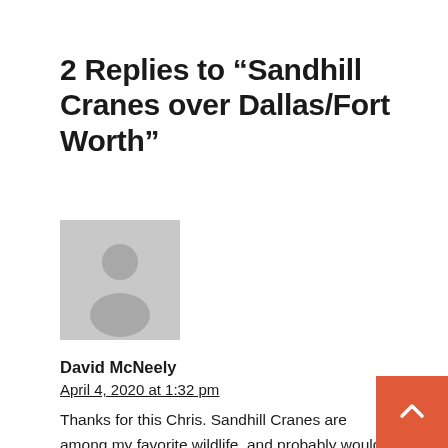2 Replies to “Sandhill Cranes over Dallas/Fort Worth”
[Figure (illustration): Gray avatar placeholder image of a generic person silhouette]
David McNeely
April 4, 2020 at 1:32 pm
Thanks for this Chris. Sandhill Cranes are among my favorite wildlife, and probably would rank #1 or #2 for my wife. When